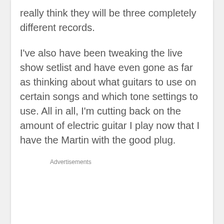really think they will be three completely different records.
I've also have been tweaking the live show setlist and have even gone as far as thinking about what guitars to use on certain songs and which tone settings to use. All in all, I'm cutting back on the amount of electric guitar I play now that I have the Martin with the good plug.
Advertisements